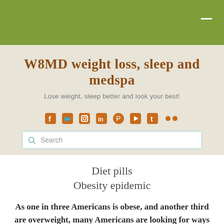W8MD weight loss, sleep and medspa
Lose weight, sleep better and look your best!
Diet pills
Obesity epidemic
As one in three Americans is obese, and another third are overweight, many Americans are looking for ways to lose weight.